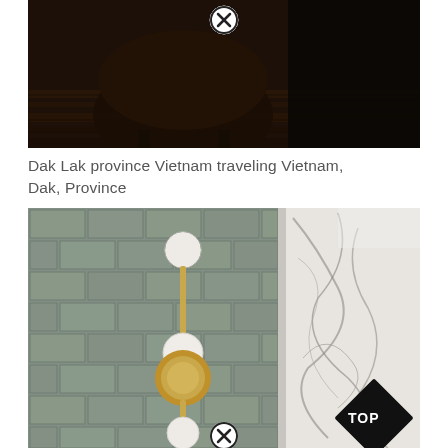[Figure (photo): Dark moody photo of what appears to be a large bronze or metal vessel/pot on wooden floorboards, with a close-button icon overlay at the top center.]
Dak Lak province Vietnam traveling Vietnam, Dak, Province
[Figure (photo): Interior bathroom photo showing green-gray subway tile wall with a brass two-globe wall sconce light fixture, and marble surface on the right. Has a 'TOP' diamond badge overlay and a close-button icon at the bottom center.]